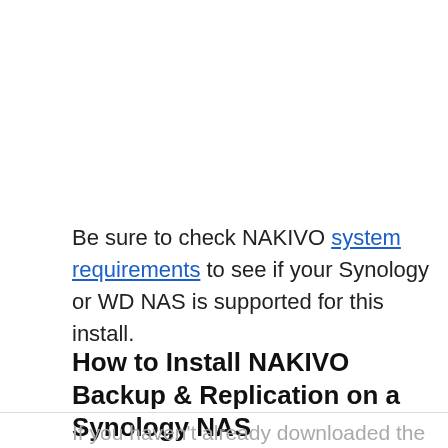Be sure to check NAKIVO system requirements to see if your Synology or WD NAS is supported for this install.
How to Install NAKIVO Backup & Replication on a Synology NAS
If you haven't already downloaded the